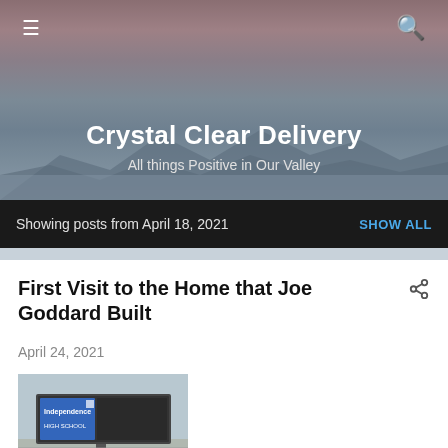Crystal Clear Delivery — All things Positive in Our Valley
Showing posts from April 18, 2021  SHOW ALL
First Visit to the Home that Joe Goddard Built
April 24, 2021
[Figure (photo): Independence High School outdoor sign with blue sky and grass in foreground]